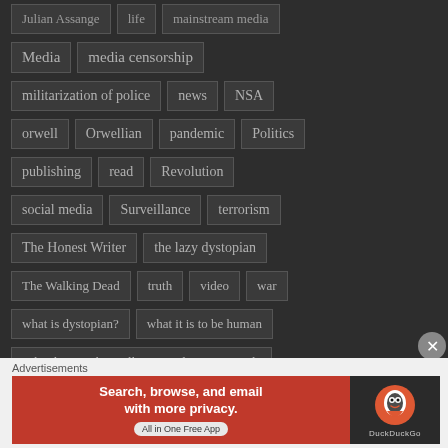Julian Assange | life | mainstream media
Media | media censorship
militarization of police | news | NSA
orwell | Orwellian | pandemic | Politics
publishing | read | Revolution
social media | Surveillance | terrorism
The Honest Writer | the lazy dystopian
The Walking Dead | truth | video | war
what is dystopian? | what it is to be human
Who dies in The Walking Dead Season Finale
Advertisements
[Figure (screenshot): DuckDuckGo advertisement banner: 'Search, browse, and email with more privacy. All in One Free App' with DuckDuckGo logo on dark background]